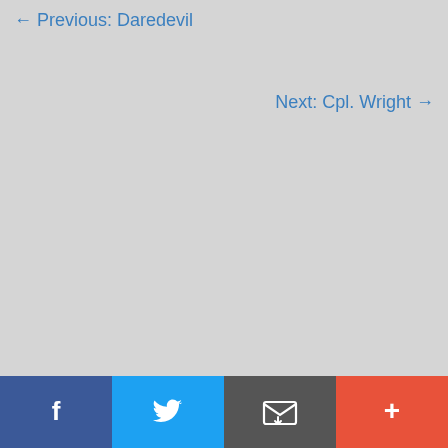← Previous: Daredevil
Next: Cpl. Wright →
[Figure (infographic): Social sharing toolbar with four buttons: Facebook (blue), Twitter (light blue), Email (dark gray), More/Plus (red-orange)]